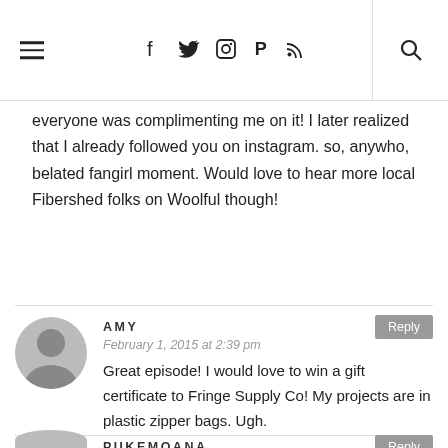Navigation header with hamburger menu, social icons (Facebook, Twitter, Instagram, Pinterest, RSS), and search icon
everyone was complimenting me on it! I later realized that I already followed you on instagram. so, anywho, belated fangirl moment. Would love to hear more local Fibershed folks on Woolful though!
AMY
February 1, 2015 at 2:39 pm
Great episode! I would love to win a gift certificate to Fringe Supply Co! My projects are in plastic zipper bags. Ugh.
PUKEMOANA